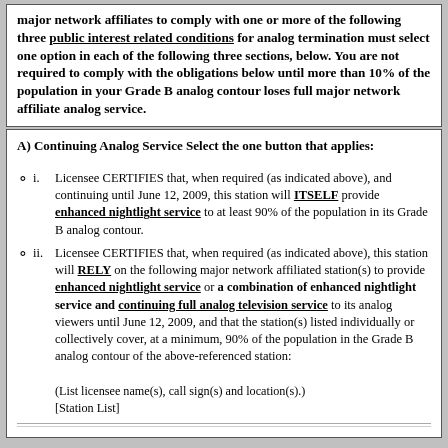major network affiliates to comply with one or more of the following three public interest related conditions for analog termination must select one option in each of the following three sections, below. You are not required to comply with the obligations below until more than 10% of the population in your Grade B analog contour loses full major network affiliate analog service.
A) Continuing Analog Service
Select the one button that applies:
i. Licensee CERTIFIES that, when required (as indicated above), and continuing until June 12, 2009, this station will ITSELF provide enhanced nightlight service to at least 90% of the population in its Grade B analog contour.
ii. Licensee CERTIFIES that, when required (as indicated above), this station will RELY on the following major network affiliated station(s) to provide enhanced nightlight service or a combination of enhanced nightlight service and continuing full analog television service to its analog viewers until June 12, 2009, and that the station(s) listed individually or collectively cover, at a minimum, 90% of the population in the Grade B analog contour of the above-referenced station:

(List licensee name(s), call sign(s) and location(s).)
[Station List]